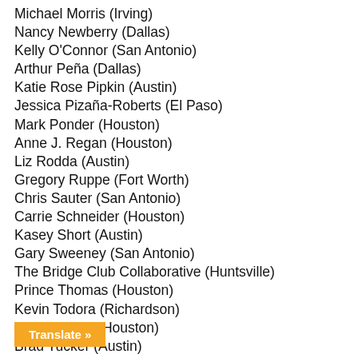Michael Morris (Irving)
Nancy Newberry (Dallas)
Kelly O'Connor (San Antonio)
Arthur Peña (Dallas)
Katie Rose Pipkin (Austin)
Jessica Pizaña-Roberts (El Paso)
Mark Ponder (Houston)
Anne J. Regan (Houston)
Liz Rodda (Austin)
Gregory Ruppe (Fort Worth)
Chris Sauter (San Antonio)
Carrie Schneider (Houston)
Kasey Short (Austin)
Gary Sweeney (San Antonio)
The Bridge Club Collaborative (Huntsville)
Prince Thomas (Houston)
Kevin Todora (Richardson)
Melissa Tran (Houston)
Brad Tucker (Austin)
Giovanni Valderas (Dallas)
S...ek (Austin)